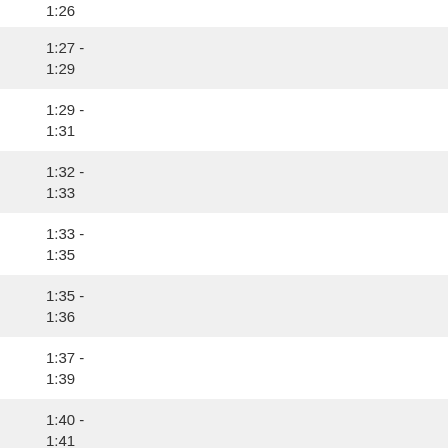1:26
1:27 - 1:29
1:29 - 1:31
1:32 - 1:33
1:33 - 1:35
1:35 - 1:36
1:37 - 1:39
1:40 - 1:41